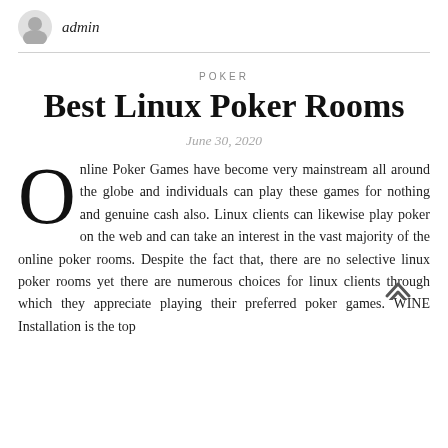admin
POKER
Best Linux Poker Rooms
June 30, 2020
Online Poker Games have become very mainstream all around the globe and individuals can play these games for nothing and genuine cash also. Linux clients can likewise play poker on the web and can take an interest in the vast majority of the online poker rooms. Despite the fact that, there are no selective linux poker rooms yet there are numerous choices for linux clients through which they appreciate playing their preferred poker games. WINE Installation is the top